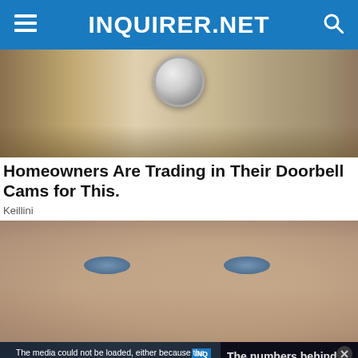INQUIRER.NET
[Figure (photo): Close-up photo of a doorbell camera mounted on a stone wall]
Homeowners Are Trading in Their Doorbell Cams for This.
Keillini
[Figure (photo): Close-up photo of an older man's face with blue eyes]
[Figure (screenshot): Video player overlay showing error message: 'The media could not be loaded, either because the server or network failed or because the format is not supported.' with text overlay 'The numbers behind LeBron James $97 million deal' and bottom text 'THE NUMBERS BEHIND LEBRON JAMES $97 MILLION DEAL']